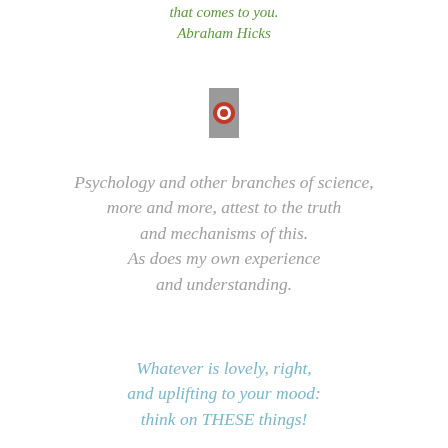that comes to you.
Abraham Hicks
[Figure (illustration): Small icon showing a target/bullseye symbol in red on a gray rectangular background]
Psychology and other branches of science, more and more, attest to the truth and mechanisms of this. As does my own experience and understanding.
Whatever is lovely, right, and uplifting to your mood: think on THESE things!